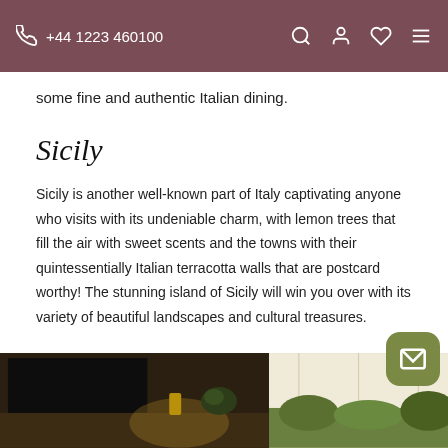+44 1223 460100
some fine and authentic Italian dining.
Sicily
Sicily is another well-known part of Italy captivating anyone who visits with its undeniable charm, with lemon trees that fill the air with sweet scents and the towns with their quintessentially Italian terracotta walls that are postcard worthy! The stunning island of Sicily will win you over with its variety of beautiful landscapes and cultural treasures.
Villa delle Palme
[Figure (photo): Interior photo showing a dark flat-screen TV mounted on a warm-toned wall with a lamp, and an outdoor scene with light fabric panels and greenery]